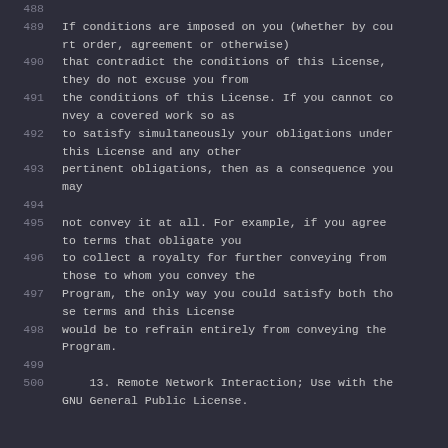488
489  If conditions are imposed on you (whether by court order, agreement or otherwise)
490  that contradict the conditions of this License, they do not excuse you from
491  the conditions of this License. If you cannot convey a covered work so as
492  to satisfy simultaneously your obligations under this License and any other
493  pertinent obligations, then as a consequence you may
494
495  not convey it at all. For example, if you agree to terms that obligate you
496  to collect a royalty for further conveying from those to whom you convey the
497  Program, the only way you could satisfy both those terms and this License
498  would be to refrain entirely from conveying the Program.
499
500      13. Remote Network Interaction; Use with the GNU General Public License.